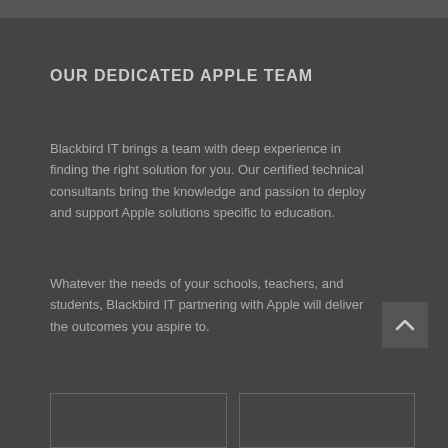OUR DEDICATED APPLE TEAM
Blackbird IT brings a team with deep experience in finding the right solution for you. Our certified technical consultants bring the knowledge and passion to deploy and support Apple solutions specific to education.
Whatever the needs of your schools, teachers, and students, Blackbird IT partnering with Apple will deliver the outcomes you aspire to.
[Figure (other): Two partially visible image panels at the bottom of the page with light border outlines]